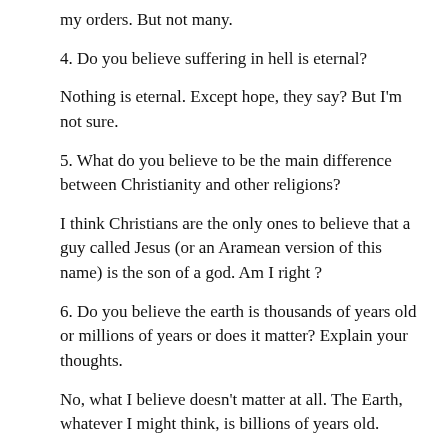my orders. But not many.
4. Do you believe suffering in hell is eternal?
Nothing is eternal. Except hope, they say? But I'm not sure.
5. What do you believe to be the main difference between Christianity and other religions?
I think Christians are the only ones to believe that a guy called Jesus (or an Aramean version of this name) is the son of a god. Am I right ?
6. Do you believe the earth is thousands of years old or millions of years or does it matter? Explain your thoughts.
No, what I believe doesn't matter at all. The Earth, whatever I might think, is billions of years old.